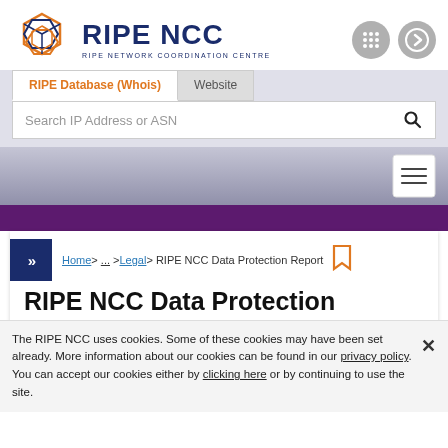[Figure (logo): RIPE NCC hexagonal logo mark in orange and navy blue]
RIPE NCC
RIPE NETWORK COORDINATION CENTRE
[Figure (other): Grid/apps icon button (grey circle)]
[Figure (other): Arrow/login icon button (grey circle)]
RIPE Database (Whois)
Website
Search IP Address or ASN
[Figure (other): Hamburger menu button (white box with three horizontal lines)]
Home > ... > Legal > RIPE NCC Data Protection Report
RIPE NCC Data Protection
The RIPE NCC uses cookies. Some of these cookies may have been set already. More information about our cookies can be found in our privacy policy. You can accept our cookies either by clicking here or by continuing to use the site.